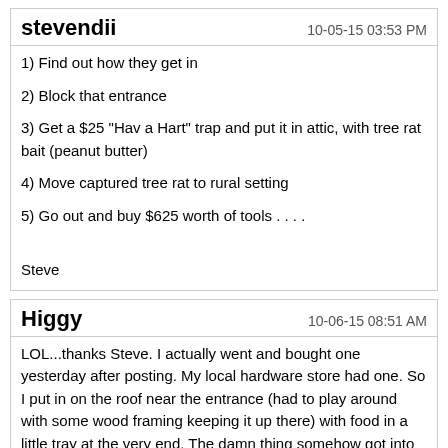stevendii   10-05-15 03:53 PM
1) Find out how they get in
2) Block that entrance
3) Get a $25 "Hav a Hart" trap and put it in attic, with tree rat bait (peanut butter)
4) Move captured tree rat to rural setting
5) Go out and buy $625 worth of tools . . . .
Steve
Higgy   10-06-15 08:51 AM
LOL...thanks Steve. I actually went and bought one yesterday after posting. My local hardware store had one. So I put in on the roof near the entrance (had to play around with some wood framing keeping it up there) with food in a little tray at the very end. The damn thing somehow got into the trap, ate the food and got out. WTF!?!?! I was watching him from inside for a while, but I missed the part where he managed to jack the food. The thing is like a ninja. I swear. I barely touch the trap and it goes off. This thing waltzes into it takes the food and even moved the tray and the thing didn't go off. I even tested it